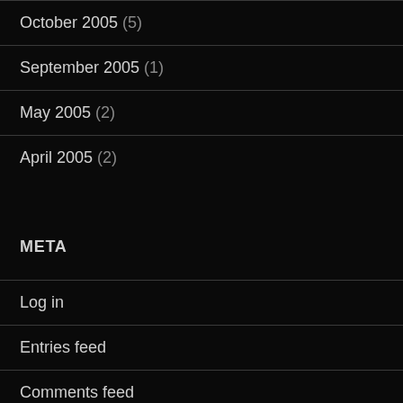October 2005 (5)
September 2005 (1)
May 2005 (2)
April 2005 (2)
META
Log in
Entries feed
Comments feed
WordPress.org